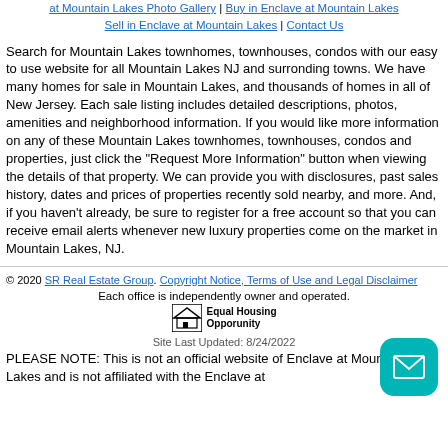at Mountain Lakes Photo Gallery | Buy in Enclave at Mountain Lakes | Sell in Enclave at Mountain Lakes | Contact Us
Search for Mountain Lakes townhomes, townhouses, condos with our easy to use website for all Mountain Lakes NJ and surronding towns. We have many homes for sale in Mountain Lakes, and thousands of homes in all of New Jersey. Each sale listing includes detailed descriptions, photos, amenities and neighborhood information. If you would like more information on any of these Mountain Lakes townhomes, townhouses, condos and properties, just click the "Request More Information" button when viewing the details of that property. We can provide you with disclosures, past sales history, dates and prices of properties recently sold nearby, and more. And, if you haven't already, be sure to register for a free account so that you can receive email alerts whenever new luxury properties come on the market in Mountain Lakes, NJ.
© 2020 SR Real Estate Group. Copyright Notice, Terms of Use and Legal Disclaimer. Each office is independently owner and operated. Equal Housing Opporunity. Site Last Updated: 8/24/2022
PLEASE NOTE: This is not an official website of Enclave at Mountain Lakes and is not affiliated with the Enclave at